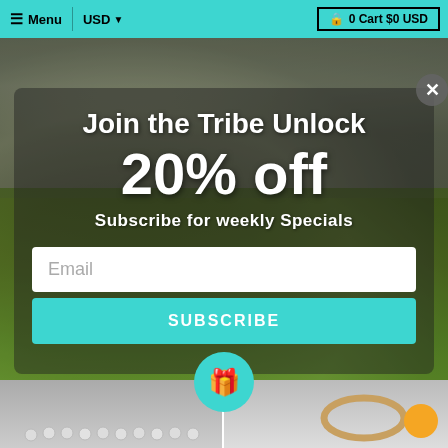≡ Menu  |  USD ▼  |  🔒 0 Cart $0 USD
[Figure (screenshot): E-commerce website screenshot showing a popup modal overlay on a background photo of turquoise and silver Native American jewelry rings on green leaves and stone. The modal promotes a newsletter subscription with a 20% off discount offer.]
Join the Tribe Unlock
20% off
Subscribe for weekly Specials
Email
Subscribe